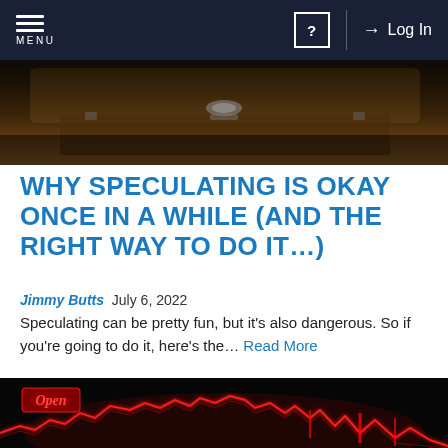MENU | ? | Log In
[Figure (photo): Top portion of a wooden treasure chest or box, partially open, with dark warm tones]
WHY SPECULATING IS OKAY ONCE IN A WHILE (AND THE RIGHT WAY TO DO IT…)
Jimmy Butts  July 6, 2022
Speculating can be pretty fun, but it's also dangerous. So if you're going to do it, here's the... Read More
[Figure (photo): Dark stock market trading screen with red neon glowing line chart and an 'Open' sign in the foreground]